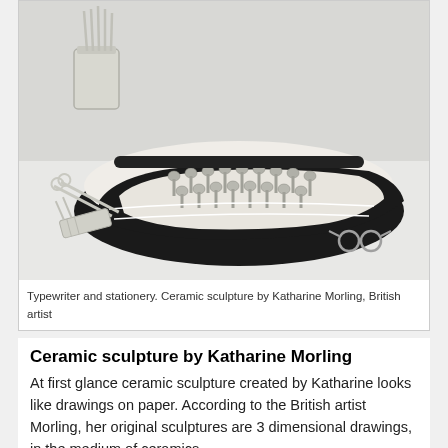[Figure (photo): Photograph of a ceramic sculpture depicting a typewriter and stationery items including scissors, pencils in a cup, and glasses, all in white and black ceramic by Katharine Morling.]
Typewriter and stationery. Ceramic sculpture by Katharine Morling, British artist
Ceramic sculpture by Katharine Morling
At first glance ceramic sculpture created by Katharine looks like drawings on paper. According to the British artist Morling, her original sculptures are 3 dimensional drawings, in the medium of ceramics.
Katharine set up her first studio in London in 2003 and since then an award-winning artist has gained international acclaim for her work. The Stilted Life installation featured in this post won the main prizes at The World Crafts Council, Second European Triennial